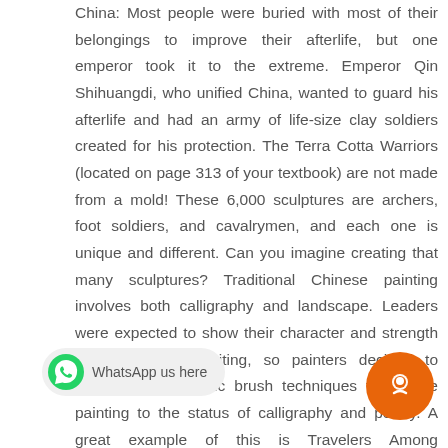China: Most people were buried with most of their belongings to improve their afterlife, but one emperor took it to the extreme. Emperor Qin Shihuangdi, who unified China, wanted to guard his afterlife and had an army of life-size clay soldiers created for his protection. The Terra Cotta Warriors (located on page 313 of your textbook) are not made from a mold! These 6,000 sculptures are archers, foot soldiers, and cavalrymen, and each one is unique and different. Can you imagine creating that many sculptures? Traditional Chinese painting involves both calligraphy and landscape. Leaders were expected to show their character and strength through elegant writing, so painters decided to introduce calligraphic brush techniques to elevate painting to the status of calligraphy and poetry. A great example of this is Travelers Among Mountains page 315 of your textbook. Kuan uses intricate brushwork to show the spirit of the